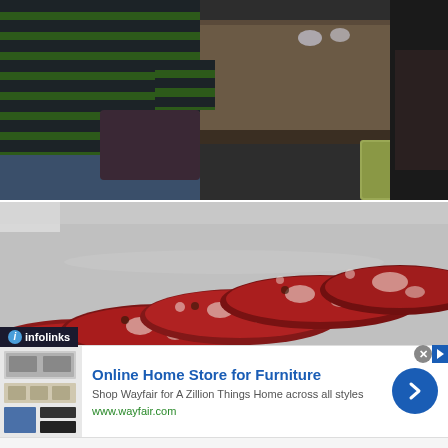[Figure (photo): Person wearing a green and black striped shirt seated at a dark wooden dining table, with a yellow-green cushioned chair visible on the right and glassware on the table.]
[Figure (photo): Close-up of sliced salami or cured meat arranged on a plate/surface, showing red and white marbled texture.]
infolinks
Online Home Store for Furniture
Shop Wayfair for A Zillion Things Home across all styles
www.wayfair.com